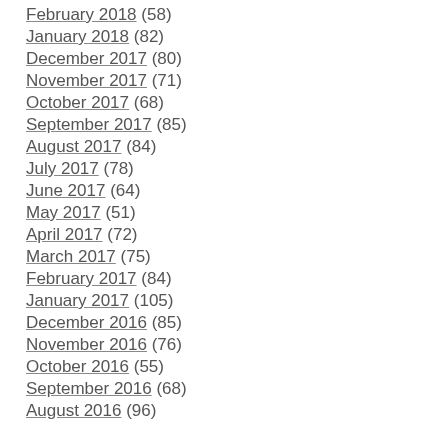February 2018 (58)
January 2018 (82)
December 2017 (80)
November 2017 (71)
October 2017 (68)
September 2017 (85)
August 2017 (84)
July 2017 (78)
June 2017 (64)
May 2017 (51)
April 2017 (72)
March 2017 (75)
February 2017 (84)
January 2017 (105)
December 2016 (85)
November 2016 (76)
October 2016 (55)
September 2016 (68)
August 2016 (96)